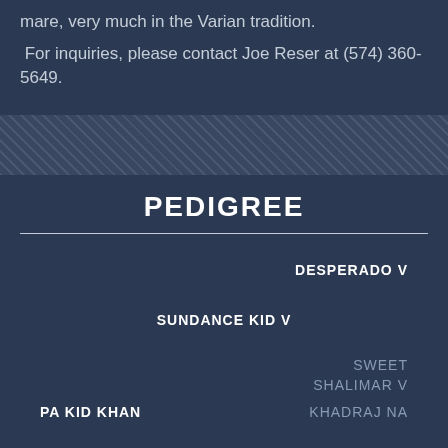mare, very much in the Varian tradition.
For inquiries, please contact Joe Reser at (574) 360-5649.
PEDIGREE
DESPERADO V
SUNDANCE KID V
SWEET SHALIMAR V
PA KID KHAN
KHADRAJ NA